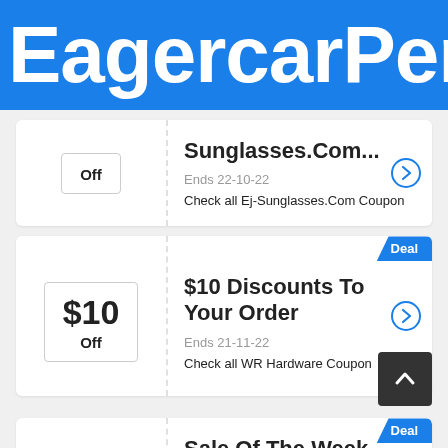EagercarPent
Sunglasses.Com...
Ends 22-10-22
Check all Ej-Sunglasses.Com Coupon
$10 Off
$10 Discounts To Your Order
Ends 21-11-22
Check all WR Hardware Coupon
Sale Of The Week